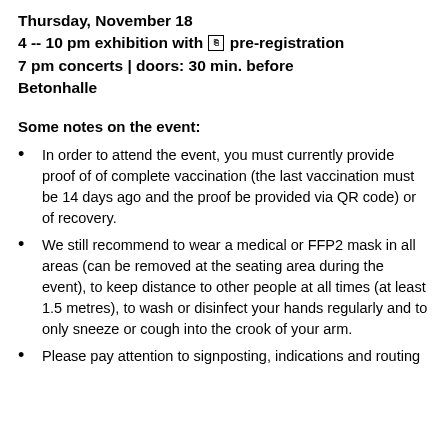Thursday, November 18
4 -- 10 pm exhibition with pre-registration
7 pm concerts | doors: 30 min. before
Betonhalle
Some notes on the event:
In order to attend the event, you must currently provide proof of of complete vaccination (the last vaccination must be 14 days ago and the proof be provided via QR code) or of recovery.
We still recommend to wear a medical or FFP2 mask in all areas (can be removed at the seating area during the event), to keep distance to other people at all times (at least 1.5 metres), to wash or disinfect your hands regularly and to only sneeze or cough into the crook of your arm.
Please pay attention to signposting, indications and routing…